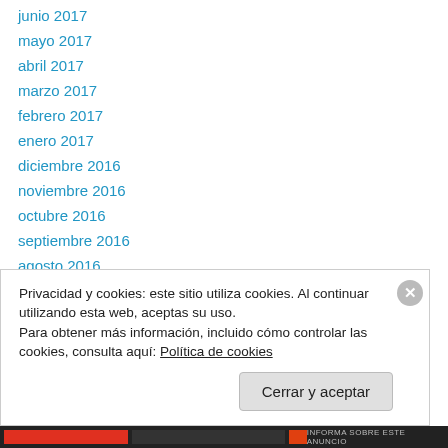junio 2017
mayo 2017
abril 2017
marzo 2017
febrero 2017
enero 2017
diciembre 2016
noviembre 2016
octubre 2016
septiembre 2016
agosto 2016
julio 2016
junio 2016
Privacidad y cookies: este sitio utiliza cookies. Al continuar utilizando esta web, aceptas su uso.
Para obtener más información, incluido cómo controlar las cookies, consulta aquí: Política de cookies
INFORMA SOBRE ESTE ANUNCIO